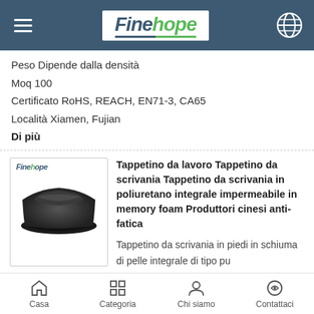[Figure (logo): Finehope company logo with hamburger menu and globe icon on dark blue header]
Peso Dipende dalla densità
Moq 100
Certificato RoHS, REACH, EN71-3, CA65
Località Xiamen, Fujian
Di più
[Figure (photo): Black polyurethane anti-fatigue desk mat product photo with Finehope logo]
Tappetino da lavoro Tappetino da scrivania Tappetino da scrivania in poliuretano integrale impermeabile in memory foam Produttori cinesi anti-fatica
Tappetino da scrivania in piedi in schiuma di pelle integrale di tipo pu
Dimensioni 671*546*66 mm
Materiale Poliuretano
Densità 100-800 kg/m3
Forma Design del cliente
Colore Nero, grigio, blu più disponibili sul colore
Casa  Categoria  Chi siamo  Contattaci